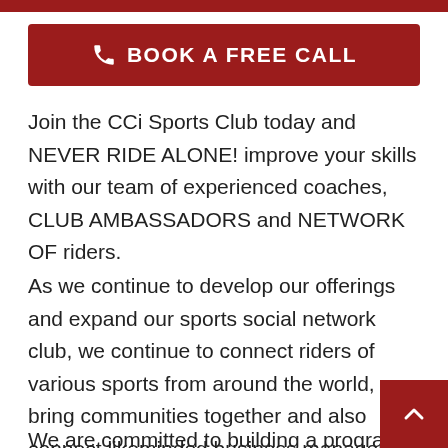BOOK A FREE CALL
Join the CCi Sports Club today and NEVER RIDE ALONE! improve your skills with our team of experienced coaches, CLUB AMBASSADORS and NETWORK OF riders.
As we continue to develop our offerings and expand our sports social network club, we continue to connect riders of various sports from around the world, bring communities together and also connect likeminded business managers by offering access to our network, programs and staff training.
We are committed to building a program the provides